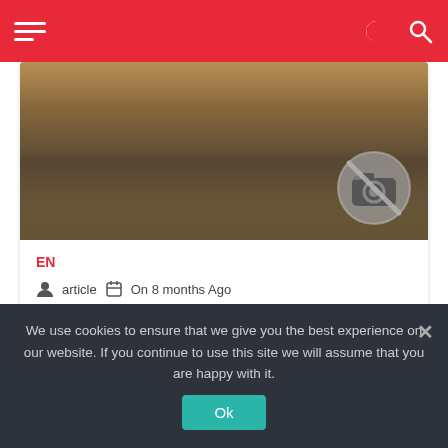Navigation header with hamburger menu, moon icon, and search icon
[Figure (photo): Sepia-toned landscape photo of a lake with tree reflections and a no-photo camera icon overlay in the bottom right]
EN
article  On 8 months Ago
Spur Posse
We use cookies to ensure that we give you the best experience on our website. If you continue to use this site we will assume that you are happy with it.
Ok